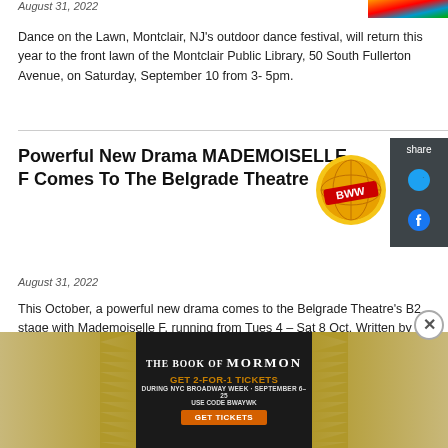August 31, 2022
Dance on the Lawn, Montclair, NJ's outdoor dance festival, will return this year to the front lawn of the Montclair Public Library, 50 South Fullerton Avenue, on Saturday, September 10 from 3- 5pm.
Powerful New Drama MADEMOISELLE F Comes To The Belgrade Theatre
August 31, 2022
This October, a powerful new drama comes to the Belgrade Theatre's B2 stage with Mademoiselle F, running from Tues 4 – Sat 8 Oct. Written by Vanessa Oakes and directed by Mark Evans, Mademoiselle F made its premiere last summer at the Shop Front Theatre, and now returns to Coventry in its new
[Figure (infographic): Advertisement for The Book of Mormon musical: GET 2-FOR-1 TICKETS DURING NYC BROADWAY WEEK · SEPTEMBER 6–25 USE CODE BWAYWK GET TICKETS]